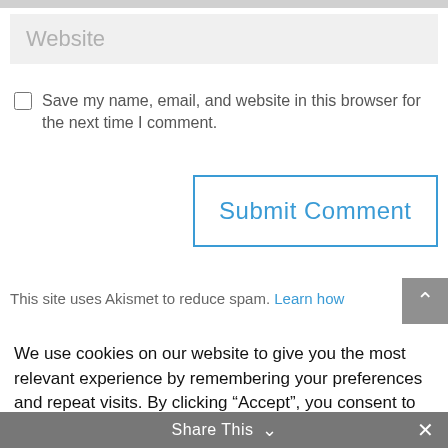Website
Save my name, email, and website in this browser for the next time I comment.
Submit Comment
This site uses Akismet to reduce spam. Learn how
We use cookies on our website to give you the most relevant experience by remembering your preferences and repeat visits. By clicking “Accept”, you consent to the use of ALL the cookies.
Cookie settings
ACCEPT
Share This